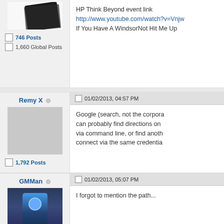[Figure (screenshot): Partial forum post top section showing avatar image of a dark device, post counts: 746 Posts, 1,660 Global Posts, and post body with HP Think Beyond event link and Windsor text]
HP Think Beyond event link
http://www.youtube.com/watch?v=Vnjw...
If You Have A WindsorNot Hit Me Up
746 Posts
1,660 Global Posts
Remy X
01/02/2013, 04:57 PM
Google (search, not the corpora... can probably find directions on... via command line, or find anoth... connect via the same credentia...
1,792 Posts
GMMan
01/02/2013, 05:07 PM
I forgot to mention the path...